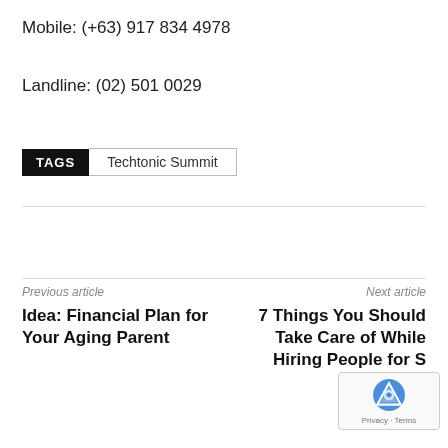Mobile: (+63) 917 834 4978
Landline: (02) 501 0029
TAGS   Techtonic Summit
Previous article
Idea: Financial Plan for Your Aging Parent
Next article
7 Things You Should Take Care of While Hiring People for S